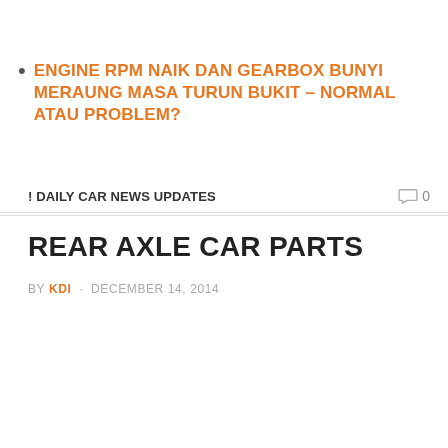ENGINE RPM NAIK DAN GEARBOX BUNYI MERAUNG MASA TURUN BUKIT – NORMAL ATAU PROBLEM?
! DAILY CAR NEWS UPDATES   💬 0
REAR AXLE CAR PARTS
BY KDI · DECEMBER 14, 2014